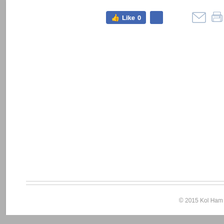[Figure (screenshot): Facebook Like button showing count of 0, a blue Facebook share icon, an email icon, and a print icon in a toolbar area]
© 2015 Kol Ham...